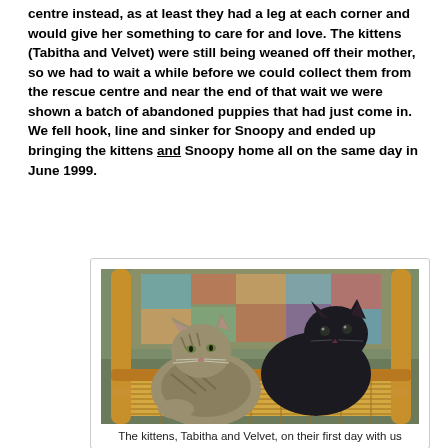centre instead, as at least they had a leg at each corner and would give her something to care for and love. The kittens (Tabitha and Velvet) were still being weaned off their mother, so we had to wait a while before we could collect them from the rescue centre and near the end of that wait we were shown a batch of abandoned puppies that had just come in. We fell hook, line and sinker for Snoopy and ended up bringing the kittens and Snoopy home all on the same day in June 1999.
[Figure (photo): Two kittens sitting on a wicker/rattan chair — a tabby kitten on the left and a black kitten on the right, with a colourful patterned cushion or blanket visible behind them.]
The kittens, Tabitha and Velvet, on their first day with us